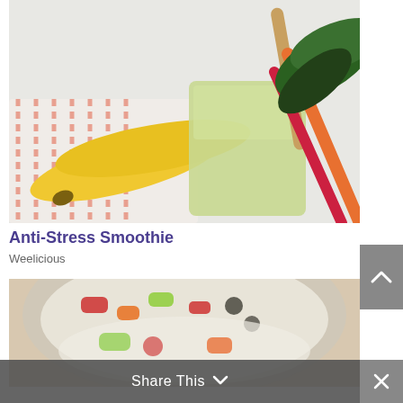[Figure (photo): A green smoothie in a glass with a wooden straw, surrounded by two bananas on a striped cloth, and colorful chard leaves (red, orange, green) on a light marble surface.]
Anti-Stress Smoothie
Weelicious
[Figure (photo): A bowl of colorful salad with mixed vegetables including peppers, olives, and creamy dressing, partially visible at the bottom of the page.]
Share This